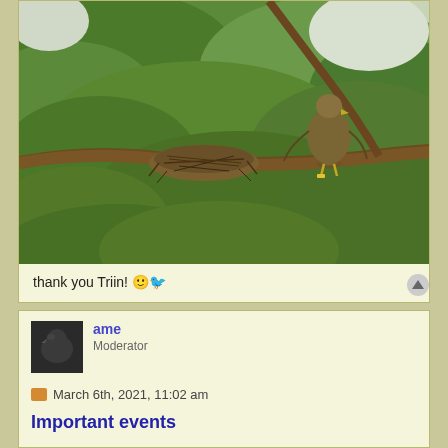[Figure (photo): Eagle perched on a branch near a large nest in a leafy green tree]
thank you Triin! 🙂🐦
ame
Moderator
March 6th, 2021, 11:02 am
Important events